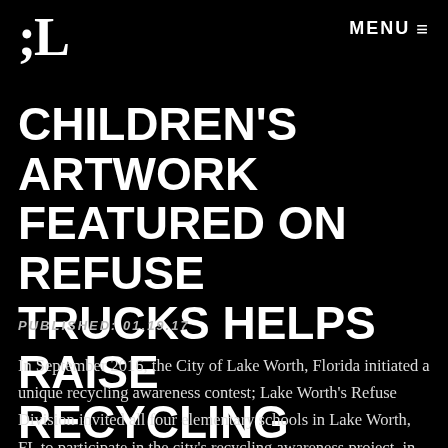;L  MENU ≡
CHILDREN'S ARTWORK FEATURED ON REFUSE TRUCKS HELPS RAISE RECYCLING AWARENESS
PUBLISHED: 01.19.17
In September 2016, the City of Lake Worth, Florida initiated a unique recycling awareness contest; Lake Worth's Refuse Division invited all four elementary schools in Lake Worth, FL to participate in the city's recycling awareness project, in which the winning artist's design would be 'wrapped' onto two new